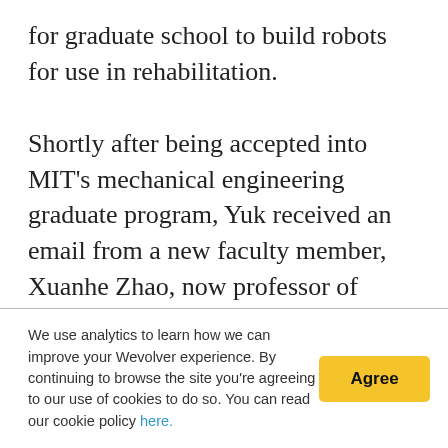for graduate school to build robots for use in rehabilitation.

Shortly after being accepted into MIT's mechanical engineering graduate program, Yuk received an email from a new faculty member, Xuanhe Zhao, now professor of mechanical engineering and George N. Hatsopoulos (1949) Faculty Fellow. An expert in the field of soft materials, Zhao was looking for a graduate student to take the lead on understanding and
We use analytics to learn how we can improve your Wevolver experience. By continuing to browse the site you're agreeing to our use of cookies to do so. You can read our cookie policy here.